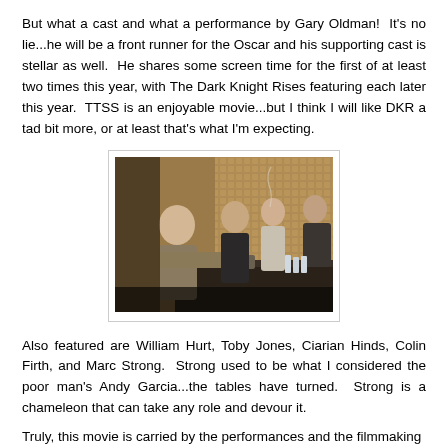But what a cast and what a performance by Gary Oldman!  It's no lie...he will be a front runner for the Oscar and his supporting cast is stellar as well.  He shares some screen time for the first of at least two times this year, with The Dark Knight Rises featuring each later this year.  TTSS is an enjoyable movie...but I think I will like DKR a tad bit more, or at least that's what I'm expecting.
[Figure (photo): A still from a movie showing several men in suits seated around a conference table in a room with a patterned wall, one man with his feet up on the table.]
Also featured are William Hurt, Toby Jones, Ciarian Hinds, Colin Firth, and Marc Strong.  Strong used to be what I considered the poor man's Andy Garcia...the tables have turned.  Strong is a chameleon that can take any role and devour it.
Truly, this movie is carried by the performances and the filmmaking